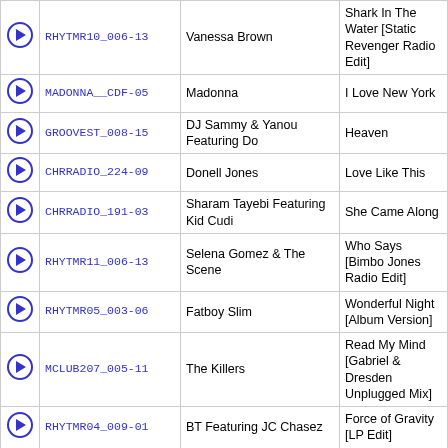|  | Code | Artist | Title |
| --- | --- | --- | --- |
| ▶ | RHYTMR10_006-13 | Vanessa Brown | Shark In The Water [Static Revenger Radio Edit] |
| ▶ | MADONNA__CDF-05 | Madonna | I Love New York |
| ▶ | GROOVEST_008-15 | DJ Sammy & Yanou Featuring Do | Heaven |
| ▶ | CHRRADIO_224-09 | Donell Jones | Love Like This |
| ▶ | CHRRADIO_191-03 | Sharam Tayebi Featuring Kid Cudi | She Came Along |
| ▶ | RHYTMR11_006-13 | Selena Gomez & The Scene | Who Says [Bimbo Jones Radio Edit] |
| ▶ | RHYTMR05_003-06 | Fatboy Slim | Wonderful Night [Album Version] |
| ▶ | MCLUB207_005-11 | The Killers | Read My Mind [Gabriel & Dresden Unplugged Mix] |
| ▶ | RHYTMR04_009-01 | BT Featuring JC Chasez | Force of Gravity [LP Edit] |
| ▶ | RHYTMR07_010-16 | Jes Brieden | Heaven |
| ▶ | HOTSTUFF_012-09 | Janet Jackson | Someone to Call My Lover |
| ▶ | RADIO200_03B-03 | Madasun | Don't You Worry |
| ▶ | CHRRADIO_235-13 | Colin James | It's Gonna Be Alright |
| ▶ | LOVEINC__ITN-03 | Love Inc. | Do Ya (Feel the Love) |
| ▶ | NROXBURY_ST1-09 | Amber | This Is Your Night |
| ▶ | LOWMILNS_EXG-04 | Low Millions | Here She Comes |
| ▶ | DTRANDOM_053-13 | Cee-Lo | Fuck You |
| ▶ | CHRRADIO_197-20 | David Guetta Featuring Akon | Sexy Chick |
| ▶ | RHYTMR07_004-14 | Belmond & Parker Featuring | Slave Me Down [Inxec Mix] |